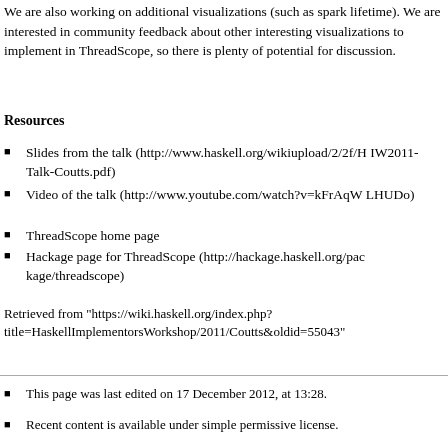We are also working on additional visualizations (such as spark lifetime). We are interested in community feedback about other interesting visualizations to implement in ThreadScope, so there is plenty of potential for discussion.
Resources
Slides from the talk (http://www.haskell.org/wikiupload/2/2f/HIW2011-Talk-Coutts.pdf)
Video of the talk (http://www.youtube.com/watch?v=kFrAqWLHUDo)
ThreadScope home page
Hackage page for ThreadScope (http://hackage.haskell.org/package/threadscope)
Retrieved from "https://wiki.haskell.org/index.php?title=HaskellImplementorsWorkshop/2011/Coutts&oldid=55043"
This page was last edited on 17 December 2012, at 13:28.
Recent content is available under simple permissive license.